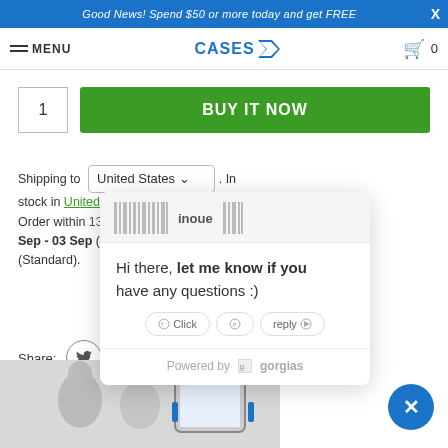Good News! Spend $50 or more today and get FREE X
MENU | CASES | cart
1 | BUY IT NOW
Shipping to United States v. In stock in United States. Order within 13 hr 13 min - to receive on 01 Sep - 03 Sep (Expedited) (Standard).
[Figure (screenshot): Chat popup widget showing barcode/logo for inoue store, message: Hi there, let me know if you have any questions :), with Powered by gorgias footer and Click to reply action button]
Share:
[Figure (photo): Bottom portion showing an elderly couple with a tablet device mounted in a blue case]